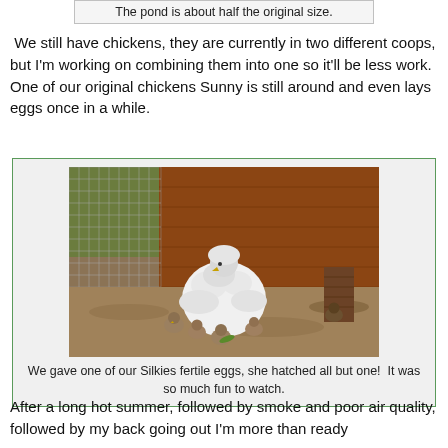The pond is about half the original size.
We still have chickens, they are currently in two different coops, but I'm working on combining them into one so it'll be less work. One of our original chickens Sunny is still around and even lays eggs once in a while.
[Figure (photo): A fluffy white Silkie chicken with several small chicks/ducklings around her in a dirt enclosure next to a wooden coop structure with wire mesh fencing and green plants visible in the background.]
We gave one of our Silkies fertile eggs, she hatched all but one!  It was so much fun to watch.
After a long hot summer, followed by smoke and poor air quality, followed by my back going out I'm more than ready for a nice to review For our all I'll be enough is a grand the